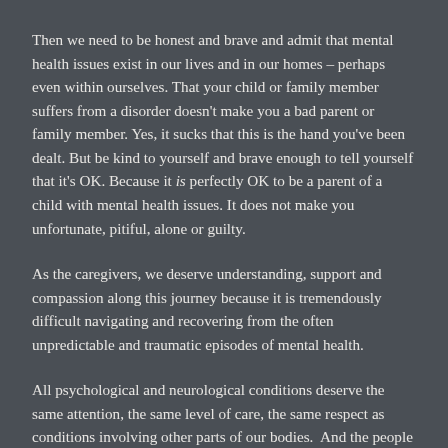Then we need to be honest and brave and admit that mental health issues exist in our lives and in our homes – perhaps even within ourselves. That your child or family member suffers from a disorder doesn't make you a bad parent or family member. Yes, it sucks that this is the hand you've been dealt. But be kind to yourself and brave enough to tell yourself that it's OK. Because it is perfectly OK to be a parent of a child with mental health issues. It does not make you unfortunate, pitiful, alone or guilty.
As the caregivers, we deserve understanding, support and compassion along this journey because it is tremendously difficult navigating and recovering from the often unpredictable and traumatic episodes of mental health.
All psychological and neurological conditions deserve the same attention, the same level of care, the same respect as conditions involving other parts of our bodies. And the people who suffer from these conditions, including their families and caregivers